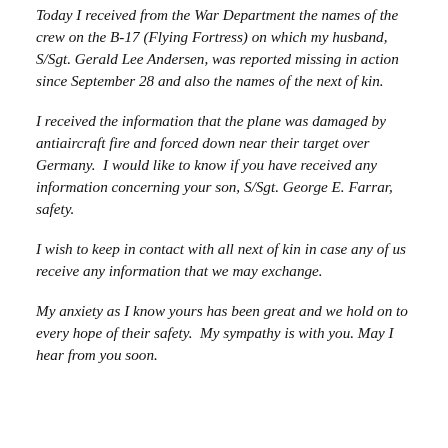Today I received from the War Department the names of the crew on the B-17 (Flying Fortress) on which my husband, S/Sgt. Gerald Lee Andersen, was reported missing in action since September 28 and also the names of the next of kin.
I received the information that the plane was damaged by antiaircraft fire and forced down near their target over Germany.  I would like to know if you have received any information concerning your son, S/Sgt. George E. Farrar, safety.
I wish to keep in contact with all next of kin in case any of us receive any information that we may exchange.
My anxiety as I know yours has been great and we hold on to every hope of their safety.  My sympathy is with you.  May I hear from you soon.